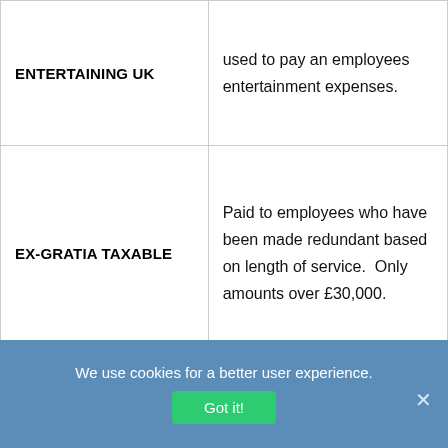| Term | Description |
| --- | --- |
| ENTERTAINING UK | used to pay an employees entertainment expenses. |
| EX-GRATIA TAXABLE | Paid to employees who have been made redundant based on length of service.  Only amounts over £30,000. |
| EX-GRATIA 1 TAXABLE | Paid to employees who have been made redundant based on |
We use cookies for a better user experience.